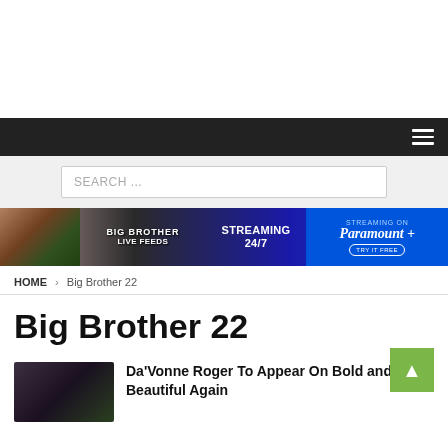[Figure (other): White advertisement space at top of page]
[Figure (other): Dark navigation bar with hamburger menu icon]
SEARCH ...
[Figure (other): Big Brother Live Feeds banner ad — Streaming 24/7 on Paramount+ Try It Free]
HOME > Big Brother 22
Big Brother 22
[Figure (photo): Thumbnail photo of two people]
Da'Vonne Roger To Appear On Bold and Beautiful Again